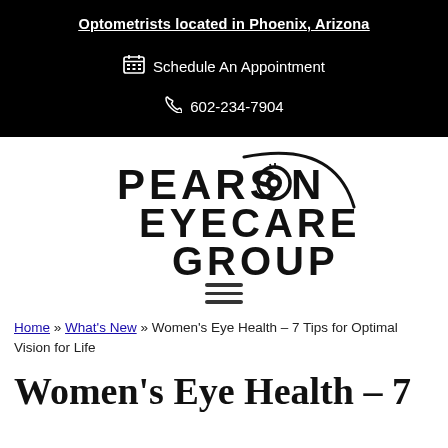Optometrists located in Phoenix, Arizona
Schedule An Appointment
602-234-7904
[Figure (logo): Pearson Eyecare Group logo — stylized text with an eye replacing the O in PEARSON, with a curved swoosh arc]
Navigation menu (hamburger icon)
Home » What's New » Women's Eye Health – 7 Tips for Optimal Vision for Life
Women's Eye Health – 7